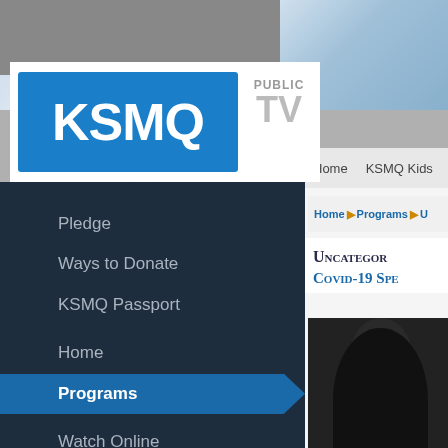[Figure (screenshot): KSMQ Public TV website screenshot showing the logo with blue KSMQ rectangle and PUBLIC TV text, navigation bar with Home and KSMQ Kids links, left dark navigation panel with menu items (Pledge, Ways to Donate, KSMQ Passport, Home, Programs [active/highlighted in blue], Watch Online, View Full Schedule, What's On), breadcrumb trail showing Home > Programs > U..., page heading showing 'Uncategori...' and 'Covid-19 Spe...' in small-caps serif font, and a dark photo of a person in the bottom right.]